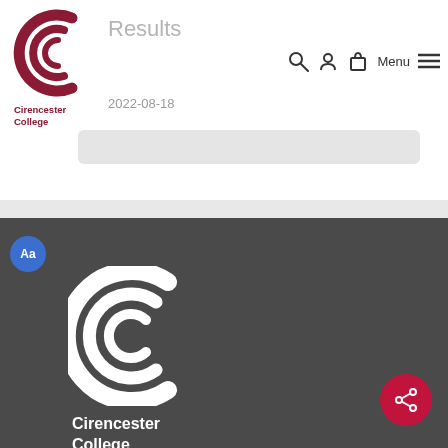[Figure (logo): Cirencester College logo with crescent C symbol in dark red/maroon, text reads Cirencester College]
Results
2022-08-18
[Figure (screenshot): Navigation icons: search, user, shopping bag, Menu with hamburger icon]
[Figure (screenshot): Grey search input box]
[Figure (logo): Cirencester College footer logo in white on dark grey background, with Aa accessibility badge in blue circle and share button in crimson circle]